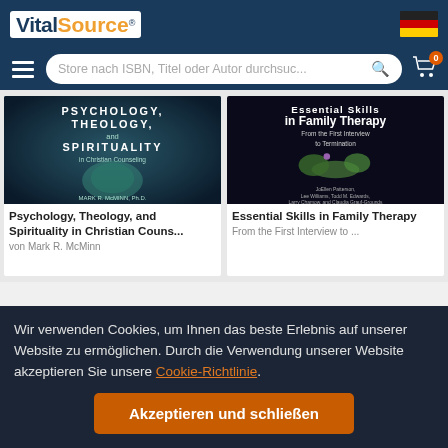[Figure (logo): VitalSource logo in white/orange on dark blue header with German flag]
[Figure (screenshot): Navigation bar with hamburger menu, search box 'Store nach ISBN, Titel oder Autor durchsuc...' and cart icon with badge 0]
[Figure (photo): Book cover: Psychology, Theology, and Spirituality in Christian Counseling by Mark R. McMinn]
Psychology, Theology, and Spirituality in Christian Couns...
von Mark R. McMinn
[Figure (photo): Book cover: Essential Skills in Family Therapy - From the First Interview to Termination]
Essential Skills in Family Therapy
From the First Interview to ...
Wir verwenden Cookies, um Ihnen das beste Erlebnis auf unserer Website zu ermöglichen. Durch die Verwendung unserer Website akzeptieren Sie unsere Cookie-Richtlinie.
Akzeptieren und schließen